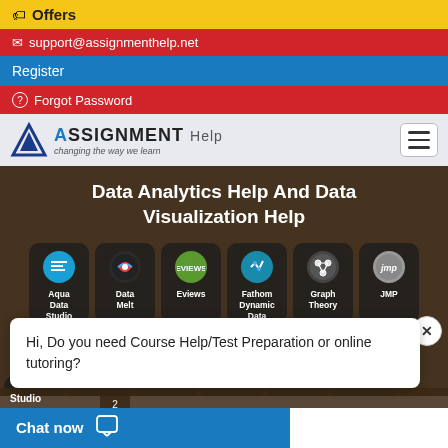Offers
support@assignmenthelp.net
Register
Forgot Password
[Figure (logo): Assignment Help logo with triangle icon and tagline 'changing the way we learn']
Data Analytics Help And Data Visualization Help
[Figure (infographic): Six icon cards: Aqua Data Studio, Data Melt, Eviews, Fathom Dynamic Data, Graph Theory, JMP]
Hi, Do you need Course Help/Test Preparation or online tutoring?
Chat now